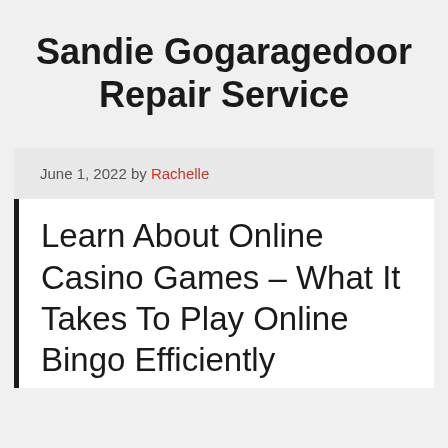Sandie Gogaragedoor Repair Service
June 1, 2022 by Rachelle
Learn About Online Casino Games – What It Takes To Play Online Bingo Efficiently